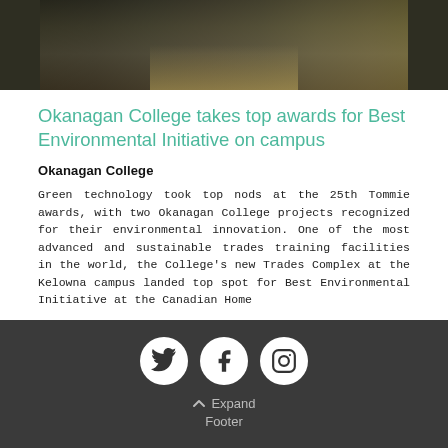[Figure (photo): Outdoor walkway or path at Okanagan College campus, surrounded by landscaping, taken at dusk with warm yellow light visible in background]
Okanagan College takes top awards for Best Environmental Initiative on campus
Okanagan College
Green technology took top nods at the 25th Tommie awards, with two Okanagan College projects recognized for their environmental innovation. One of the most advanced and sustainable trades training facilities in the world, the College's new Trades Complex at the Kelowna campus landed top spot for Best Environmental Initiative at the Canadian Home
Expand Footer